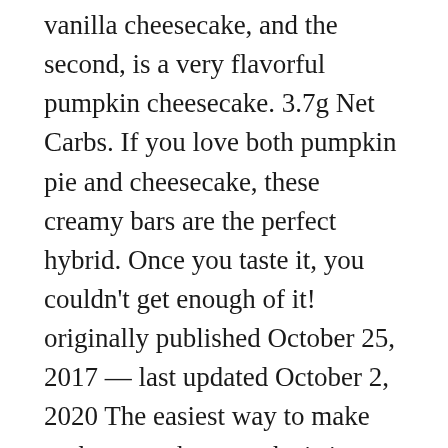vanilla cheesecake, and the second, is a very flavorful pumpkin cheesecake. 3.7g Net Carbs. If you love both pumpkin pie and cheesecake, these creamy bars are the perfect hybrid. Once you taste it, you couldn't get enough of it! originally published October 25, 2017 — last updated October 2, 2020 The easiest way to make graham cracker crumbs is in your food processor – it literally takes seconds! 32 oz cream cheese, at room temperature. Slice into squares, cleaning the knife between each slice to get a clean cut. If you want to get really bold, you could even use oreo crumbs in place of the graham crackers. You'll combine all your ingredients together and press them into the